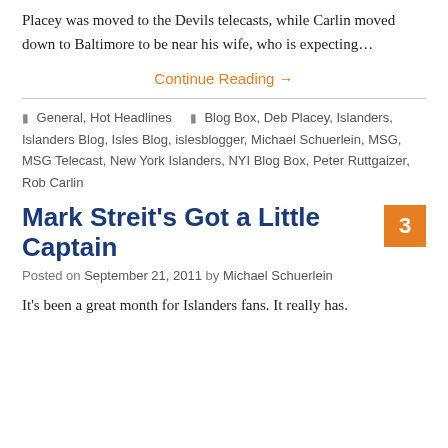Placey was moved to the Devils telecasts, while Carlin moved down to Baltimore to be near his wife, who is expecting…
Continue Reading →
General, Hot Headlines  |  Blog Box, Deb Placey, Islanders, Islanders Blog, Isles Blog, islesblogger, Michael Schuerlein, MSG, MSG Telecast, New York Islanders, NYI Blog Box, Peter Ruttgaizer, Rob Carlin
Mark Streit's Got a Little Captain
Posted on September 21, 2011 by Michael Schuerlein
It's been a great month for Islanders fans. It really has.